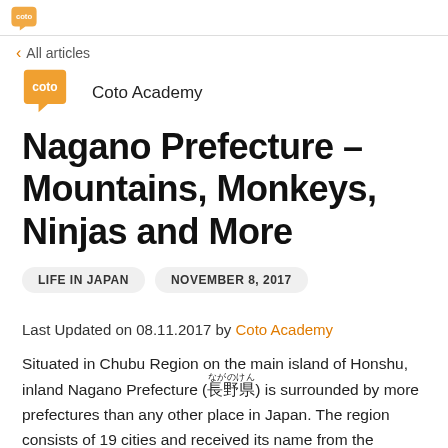Coto Academy logo / navigation header
< All articles
[Figure (logo): Coto Academy orange speech-bubble logo with 'coto' text]
Coto Academy
Nagano Prefecture – Mountains, Monkeys, Ninjas and More
LIFE IN JAPAN   NOVEMBER 8, 2017
Last Updated on 08.11.2017 by Coto Academy
Situated in Chubu Region on the main island of Honshu, inland Nagano Prefecture (長野県) is surrounded by more prefectures than any other place in Japan. The region consists of 19 cities and received its name from the prefectural capital, Nagano City (長野市).